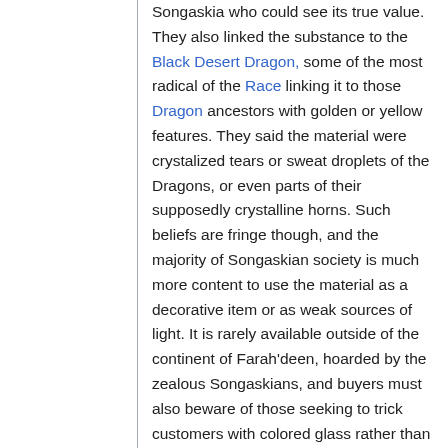(…) Songaskia who could see its true value. They also linked the substance to the Black Desert Dragon, some of the most radical of the Race linking it to those Dragon ancestors with golden or yellow features. They said the material were crystalized tears or sweat droplets of the Dragons, or even parts of their supposedly crystalline horns. Such beliefs are fringe though, and the majority of Songaskian society is much more content to use the material as a decorative item or as weak sources of light. It is rarely available outside of the continent of Farah'deen, hoarded by the zealous Songaskians, and buyers must also beware of those seeking to trick customers with colored glass rather than the genuine gemstone.